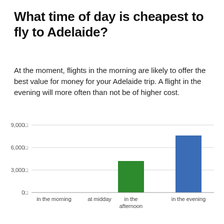What time of day is cheapest to fly to Adelaide?
At the moment, flights in the morning are likely to offer the best value for money for your Adelaide trip. A flight in the evening will more often than not be of higher cost.
[Figure (bar-chart): ]